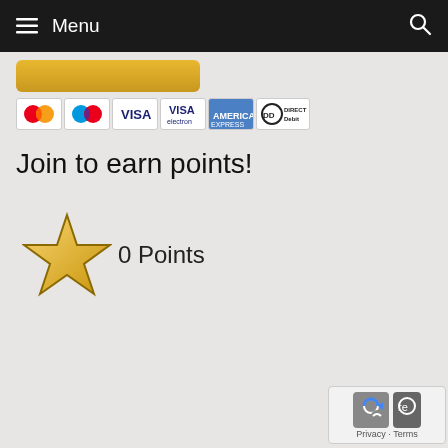Menu
[Figure (other): Payment method icons: Mastercard, Maestro, Visa, Visa Electron, American Express, Direct Debit]
Join to earn points!
[Figure (other): Gold star icon with text '0 Points']
[Figure (other): Google reCAPTCHA badge with Privacy and Terms links]